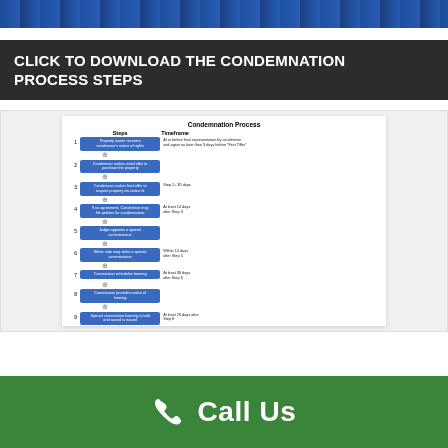[Figure (photo): Dark blue header banner with navigation bar at top of page]
CLICK TO DOWNLOAD THE CONDEMNATION PROCESS STEPS
[Figure (flowchart): Condemnation Process Steps flowchart preview showing 10 steps with blue boxes and timeframe column. Steps include: 1. Property owner receives condensers notice of rights, 2. Condemnor makes initial offer to purchase the property, 3. Condemnor makes final offer to acquire property via notice, 4. If no agreement, Condemnor may file petition for condemnation (at least 14 days after Step 3), 5. Judge appoints a special commissioner, 6. Either side may offer a special commissioner (within 14 days after Step 5), 7. Commission schedules hearing (at least 30 days after Step 6), 8. Commission provides notice of hearing, 9. Special commission hearing is held and award is issued (at least 20 days after Step 8), 10. Written decision is signed and filed at start by the commissioners (No later than next working day after Step 9)]
Call Us